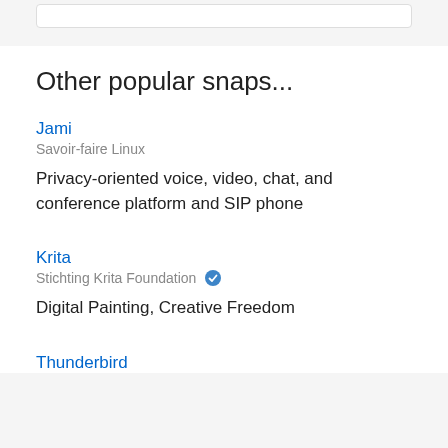Other popular snaps...
Jami
Savoir-faire Linux
Privacy-oriented voice, video, chat, and conference platform and SIP phone
Krita
Stichting Krita Foundation ✔
Digital Painting, Creative Freedom
Thunderbird